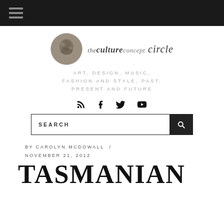[Figure (logo): The Culture Concept Circle logo with circular coin/medallion image and stylized script text]
ART, DESIGN, MUSIC, FASHION AND STYLE, PAST, PRESENT AND FUTURE
[Figure (infographic): Social media icons: RSS feed, Facebook, Twitter, YouTube]
SEARCH
BY CAROLYN MCDOWALL / NOVEMBER 21, 2012
TASMANIAN